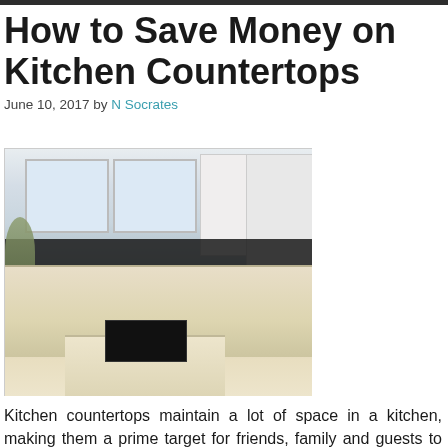How to Save Money on Kitchen Countertops
June 10, 2017 by N Socrates
[Figure (photo): Kitchen interior showing granite countertops with an island cooktop, white cabinets, dark backsplash tiles, stainless sink, refrigerator, and large windows]
Kitchen countertops maintain a lot of space in a kitchen, making them a prime target for friends, family and guests to see when they come for a visit. Wanting them